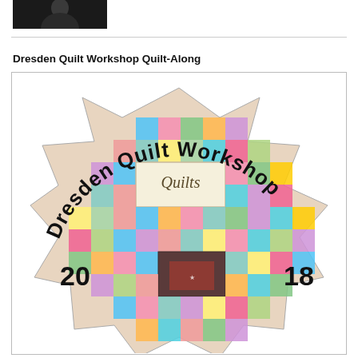[Figure (photo): Headshot photo of a person against dark background, partially visible at top of page]
Dresden Quilt Workshop Quilt-Along
[Figure (illustration): Dresden Quilt Workshop logo: a star-shaped quilt block made of colorful patchwork squares with 'Dresden Quilt Workshop' text arching around the top and '2018' at the bottom. The center shows a cream-colored panel with 'Quilts' in cursive script.]